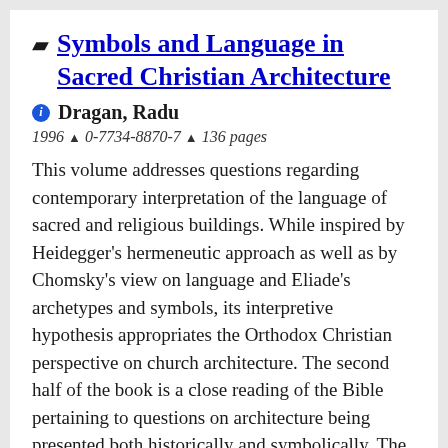Symbols and Language in Sacred Christian Architecture
Dragan, Radu
1996 ▲ 0-7734-8870-7 ▲ 136 pages
This volume addresses questions regarding contemporary interpretation of the language of sacred and religious buildings. While inspired by Heidegger's hermeneutic approach as well as by Chomsky's view on language and Eliade's archetypes and symbols, its interpretive hypothesis appropriates the Orthodox Christian perspective on church architecture. The second half of the book is a close reading of the Bible pertaining to questions on architecture being presented both historically and symbolically. The purpose of the interpretation is to trace back the possible grounds for a 'primitive hut' of the